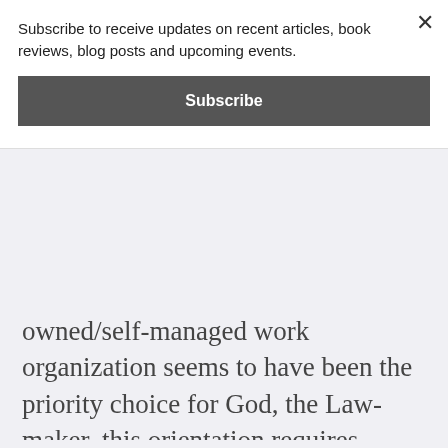Subscribe to receive updates on recent articles, book reviews, blog posts and upcoming events.
Subscribe
owned/self-managed work organization seems to have been the priority choice for God, the Law-maker, this orientation requires comment.
Perhaps God’s preferred option for work organization existed merely because of the nature of agriculture